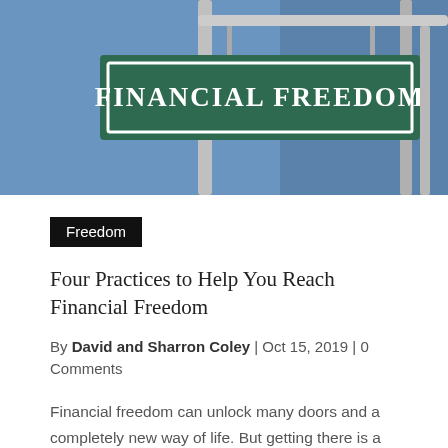[Figure (photo): Street sign reading 'FINANCIAL FREEDOM' in white text on a green background with white border, mounted on a metal pole against a blue sky.]
Freedom
Four Practices to Help You Reach Financial Freedom
By David and Sharron Coley | Oct 15, 2019 | 0 Comments
Financial freedom can unlock many doors and a completely new way of life. But getting there is a multi-step process that requires a strategic game plan and a strong mindset. Here are four practices to help you reach financial freedom.